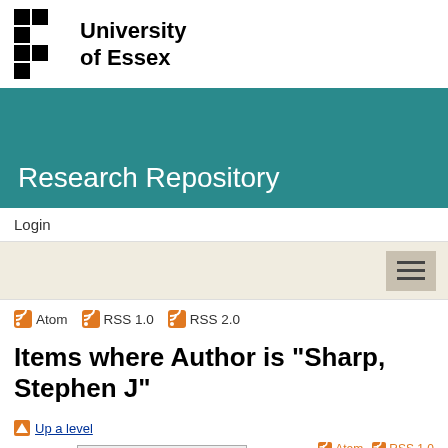[Figure (logo): University of Essex logo with black checkered pattern and text 'University of Essex']
Research Repository
Login
[Figure (other): Navigation bar with hamburger menu button]
Atom  RSS 1.0  RSS 2.0
Items where Author is "Sharp, Stephen J"
Up a level
Export as  ASCII Citation
Atom  RSS 1.0  RSS 2.0
Export